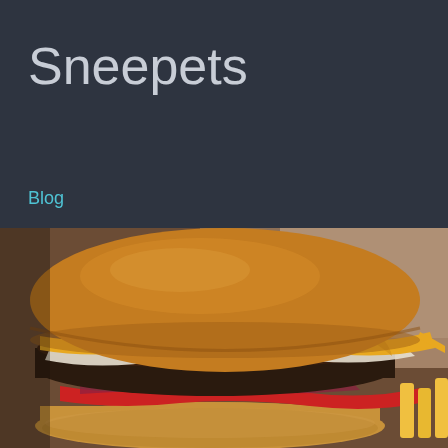Sneepets
Blog
[Figure (photo): Close-up photo of a large cheeseburger with melted cheese, ketchup, and red onion on a brioche bun, with french fries partially visible on the right side. Background is a warm brown surface.]